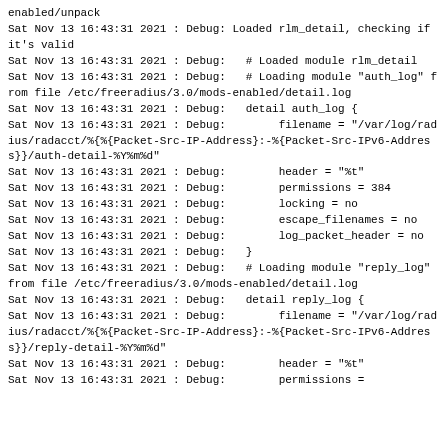enabled/unpack
Sat Nov 13 16:43:31 2021 : Debug: Loaded rlm_detail, checking if it's valid
Sat Nov 13 16:43:31 2021 : Debug:   # Loaded module rlm_detail
Sat Nov 13 16:43:31 2021 : Debug:   # Loading module "auth_log" from file /etc/freeradius/3.0/mods-enabled/detail.log
Sat Nov 13 16:43:31 2021 : Debug:   detail auth_log {
Sat Nov 13 16:43:31 2021 : Debug:        filename = "/var/log/radius/radacct/%{%{Packet-Src-IP-Address}:-%{Packet-Src-IPv6-Address}}/auth-detail-%Y%m%d"
Sat Nov 13 16:43:31 2021 : Debug:        header = "%t"
Sat Nov 13 16:43:31 2021 : Debug:        permissions = 384
Sat Nov 13 16:43:31 2021 : Debug:        locking = no
Sat Nov 13 16:43:31 2021 : Debug:        escape_filenames = no
Sat Nov 13 16:43:31 2021 : Debug:        log_packet_header = no
Sat Nov 13 16:43:31 2021 : Debug:   }
Sat Nov 13 16:43:31 2021 : Debug:   # Loading module "reply_log" from file /etc/freeradius/3.0/mods-enabled/detail.log
Sat Nov 13 16:43:31 2021 : Debug:   detail reply_log {
Sat Nov 13 16:43:31 2021 : Debug:        filename = "/var/log/radius/radacct/%{%{Packet-Src-IP-Address}:-%{Packet-Src-IPv6-Address}}/reply-detail-%Y%m%d"
Sat Nov 13 16:43:31 2021 : Debug:        header = "%t"
Sat Nov 13 16:43:31 2021 : Debug:        permissions =